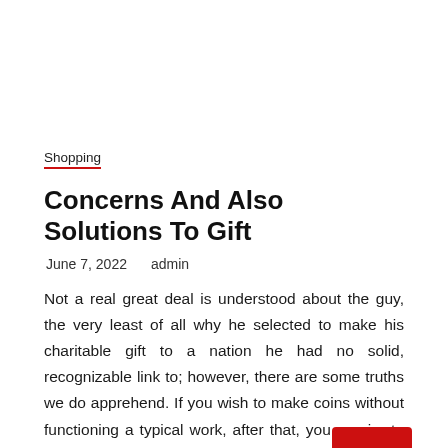Shopping
Concerns And Also Solutions To Gift
June 7, 2022    admin
Not a real great deal is understood about the guy, the very least of all why he selected to make his charitable gift to a nation he had no solid, recognizable link to; however, there are some truths we do apprehend. If you wish to make coins without functioning a typical work, after that, you require to establish as well as mark your special ability collection. This practical set of holders is an